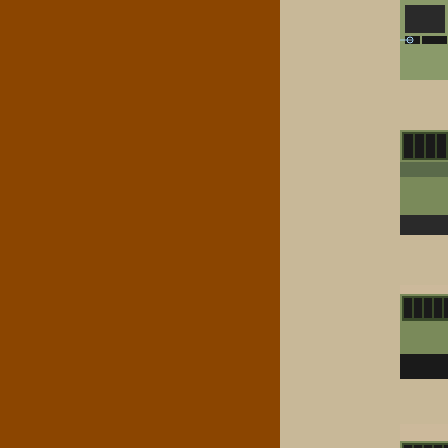[Figure (photo): Close-up photo of main PCB/circuit board showing screws and card reader area]
screws shown. The card reader is mounted under this frame, in the upper right.
[Figure (photo): Close-up photo of main PCB circuit board with chips and connectors visible]
After these 7 screws are removed, you can flip the main frame over to the left but first you should understand how the main PCB connects to the keyboard. Failure to understand this can lead to bent pins when reassembling.
[Figure (photo): Photo of main PCB showing keyboard/display connector area]
Simply lift the main PCB and it will come free of the keyboard/display connector. When you reassemble this, be careful to observe proper mating, or you may wind up with bent pins.
[Figure (photo): Photo showing slot in frame for PCB connection]
You will notice that there is a slot in the frame. This slot is to